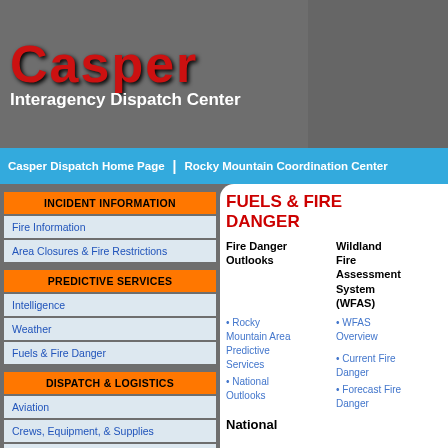[Figure (photo): Wildfire photo with flames and smoke in forest, used as header background image on left side]
Casper Interagency Dispatch Center
Casper Dispatch Home Page | Rocky Mountain Coordination Center
INCIDENT INFORMATION
Fire Information
Area Closures & Fire Restrictions
PREDICTIVE SERVICES
Intelligence
Weather
Fuels & Fire Danger
DISPATCH & LOGISTICS
Aviation
Crews, Equipment, & Supplies
Overhead & Teams
FUELS & FIRE DANGER
Fire Danger Outlooks
Wildland Fire Assessment System (WFAS)
• Rocky Mountain Area Predictive Services
• National Outlooks
• WFAS Overview
• Current Fire Danger
• Forecast Fire Danger
National